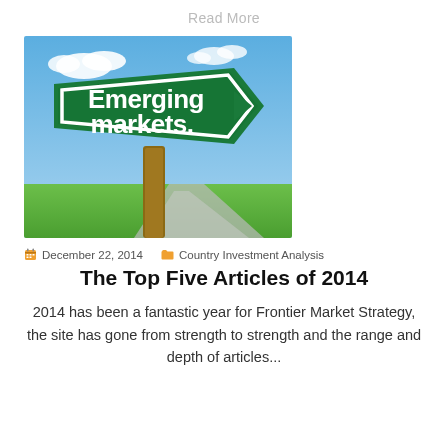Read More
[Figure (photo): A green directional road sign shaped like an arrow reading 'Emerging markets.' in white text, mounted on a wooden post against a blue sky with clouds and green fields in the background.]
December 22, 2014   Country Investment Analysis
The Top Five Articles of 2014
2014 has been a fantastic year for Frontier Market Strategy, the site has gone from strength to strength and the range and depth of articles...